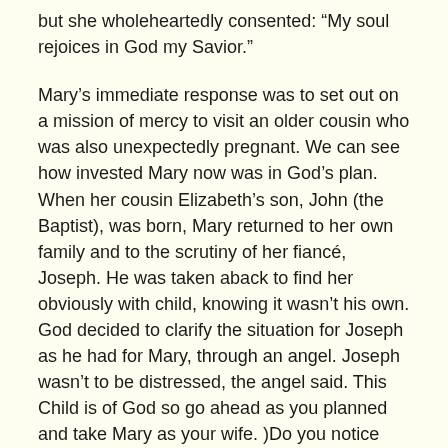but she wholeheartedly consented: “My soul rejoices in God my Savior.”
Mary’s immediate response was to set out on a mission of mercy to visit an older cousin who was also unexpectedly pregnant. We can see how invested Mary now was in God’s plan. When her cousin Elizabeth’s son, John (the Baptist), was born, Mary returned to her own family and to the scrutiny of her fiancé, Joseph. He was taken aback to find her obviously with child, knowing it wasn’t his own. God decided to clarify the situation for Joseph as he had for Mary, through an angel. Joseph wasn’t to be distressed, the angel said. This Child is of God so go ahead as you planned and take Mary as your wife. )Do you notice anything stressful yet?)
Another curveball is thrown into this original Christmas